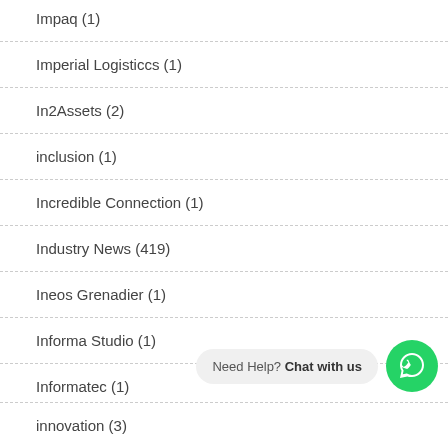Impaq (1)
Imperial Logisticcs (1)
In2Assets (2)
inclusion (1)
Incredible Connection (1)
Industry News (419)
Ineos Grenadier (1)
Informa Studio (1)
Informatec (1)
innovation (3)